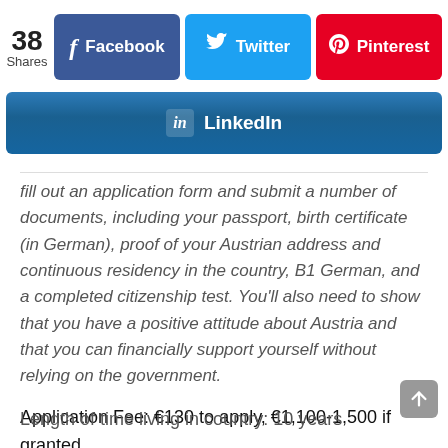[Figure (screenshot): Social media share buttons: 38 Shares, Facebook (blue), Twitter (light blue), Pinterest (red), LinkedIn (blue gradient bar)]
fill out an application form and submit a number of documents, including your passport, birth certificate (in German), proof of your Austrian address and continuous residency in the country, B1 German, and a completed citizenship test. You'll also need to show that you have a positive attitude about Austria and that you can financially support yourself without relying on the government.
Application Fee: €130 to apply, €1,100-1,500 if granted
Length of time living in country: 10 years